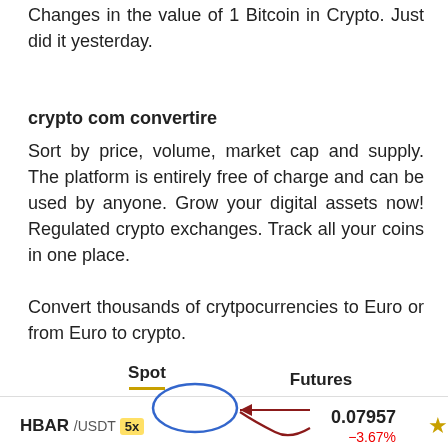Changes in the value of 1 Bitcoin in Crypto. Just did it yesterday.
crypto com convertire
Sort by price, volume, market cap and supply. The platform is entirely free of charge and can be used by anyone. Grow your digital assets now! Regulated crypto exchanges. Track all your coins in one place.
Convert thousands of crytpocurrencies to Euro or from Euro to crypto.
| Spot | Futures |
| --- | --- |
| HBAR /USDT 5x | 0.07957
−3.67% |
[Figure (illustration): Blue hand-drawn circle around the 5x badge and an arrow (dark red/maroon) pointing left toward it]